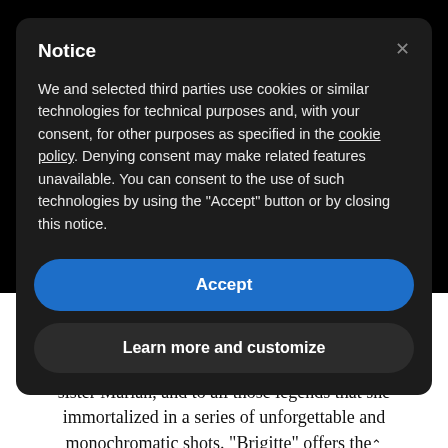Notice
We and selected third parties use cookies or similar technologies for technical purposes and, with your consent, for other purposes as specified in the cookie policy. Denying consent may make related features unavailable. You can consent to the use of such technologies by using the “Accept” button or by closing this notice.
Accept
Learn more and customize
talks about her life, her ideas and her work, both in front of and behind the camera. This short but intimate portrait of Brigitte opens the doors to her family, especially her sister Marian, and to all those legends that she immortalized in a series of unforgettable and monochromatic shots. “Brigitte” offers the opportunity to get to know the working method of this